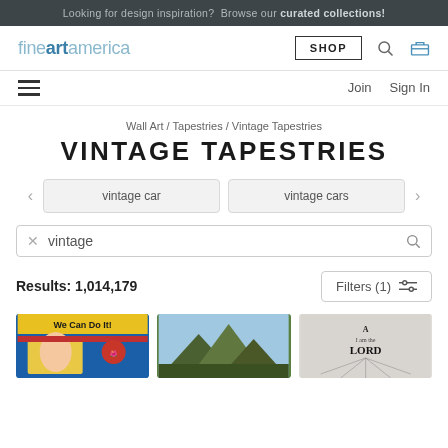Looking for design inspiration? Browse our curated collections!
[Figure (logo): Fine Art America logo with 'fineartamerica' text, SHOP button, search icon, cart icon]
Join  Sign In
Wall Art / Tapestries / Vintage Tapestries
VINTAGE TAPESTRIES
vintage car  |  vintage cars
vintage
Results: 1,014,179
Filters (1)
[Figure (photo): Three product thumbnail photos: We Can Do It vintage poster tapestry, mountain landscape tapestry, vintage typographic 'I am the Lord' tapestry]